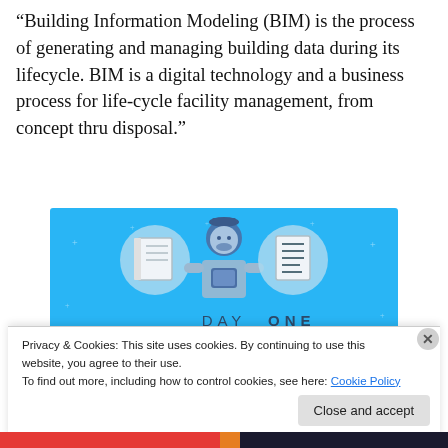“Building Information Modeling (BIM) is the process of generating and managing building data during its lifecycle. BIM is a digital technology and a business process for life-cycle facility management, from concept thru disposal.”
[Figure (illustration): Blue background advertisement for 'Day One' journaling app. Shows a cartoon person holding a phone, flanked by circular icons of a notebook and a lined document. Text reads 'DAY ONE' and 'The only journaling app you’ll ever need.']
Privacy & Cookies: This site uses cookies. By continuing to use this website, you agree to their use.
To find out more, including how to control cookies, see here: Cookie Policy
Close and accept